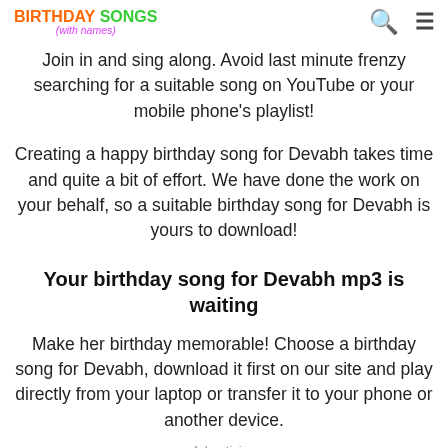BIRTHDAY SONGS (with names)
Join in and sing along. Avoid last minute frenzy searching for a suitable song on YouTube or your mobile phone's playlist!
Creating a happy birthday song for Devabh takes time and quite a bit of effort. We have done the work on your behalf, so a suitable birthday song for Devabh is yours to download!
Your birthday song for Devabh mp3 is waiting
Make her birthday memorable! Choose a birthday song for Devabh, download it first on our site and play directly from your laptop or transfer it to your phone or another device.
Advertising